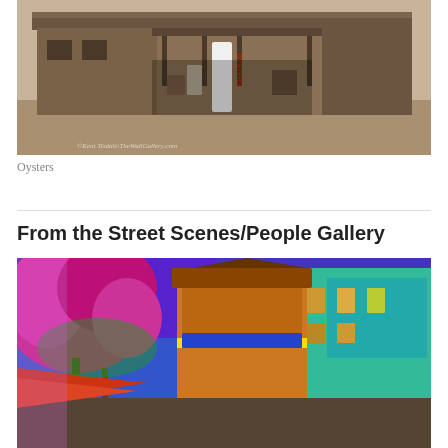[Figure (photo): Sepia-toned photograph of a rustic wooden building with an 'Oysters' sign, porch with various items. Watermark: ©Kent Tishale\TheWallGallery.com]
Oysters
From the Street Scenes/People Gallery
[Figure (photo): Colorful artistic/painted street scene photograph showing vibrant buildings, trees with pink/red flowers, blue sky, strong saturation and painterly effect]